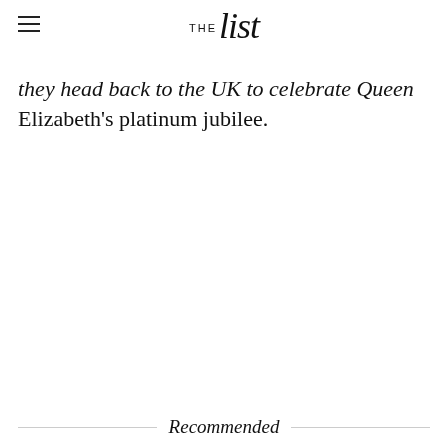THE List
they head back to the UK to celebrate Queen Elizabeth's platinum jubilee.
Recommended